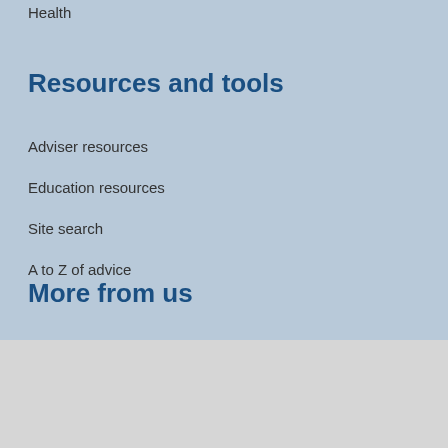Health
Resources and tools
Adviser resources
Education resources
Site search
A to Z of advice
More from us
About us
We use cookies to improve your experience of our website. You can find out more or opt-out from some cookies.
I'm fine with cookies